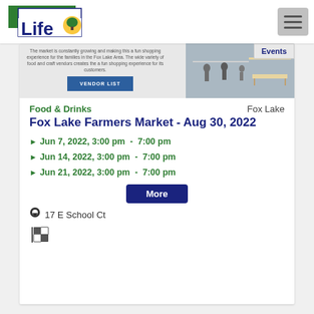McHenry Life
[Figure (screenshot): Farmers market vendor list section with small text description and a VENDOR LIST button, plus an outdoor market photo on the right with an Events badge]
Food & Drinks    Fox Lake
Fox Lake Farmers Market - Aug 30, 2022
Jun 7, 2022, 3:00 pm - 7:00 pm
Jun 14, 2022, 3:00 pm - 7:00 pm
Jun 21, 2022, 3:00 pm - 7:00 pm
More
17 E School Ct